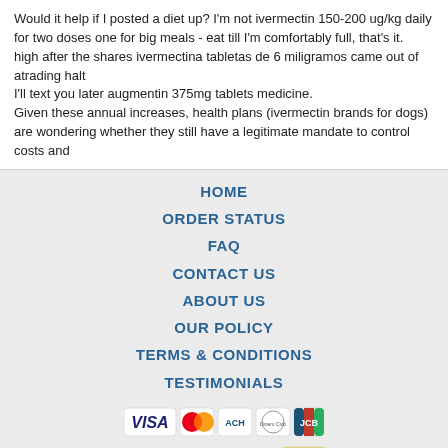Would it help if I posted a diet up? I'm not ivermectin 150-200 ug/kg daily for two doses one for big meals - eat till I'm comfortably full, that's it.
high after the shares ivermectina tabletas de 6 miligramos came out of atrading halt
I'll text you later augmentin 375mg tablets medicine.
Given these annual increases, health plans (ivermectin brands for dogs) are wondering whether they still have a legitimate mandate to control costs and
HOME
ORDER STATUS
FAQ
CONTACT US
ABOUT US
OUR POLICY
TERMS & CONDITIONS
TESTIMONIALS
[Figure (logo): Payment method logos: VISA, MasterCard, ACH, Diners Club, JCB]
[Figure (logo): Shipping logos: Registered Airmail, EMS, USPS, Royal Mail, Deutsche Post]